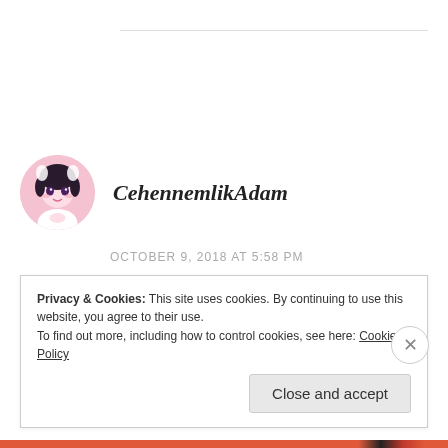CehennemlikAdam
OCTOBER 9, 2018 AT 5:58 PM
The brutal truth is there is no perfect relationship.
Privacy & Cookies: This site uses cookies. By continuing to use this website, you agree to their use.
To find out more, including how to control cookies, see here: Cookie Policy
Close and accept